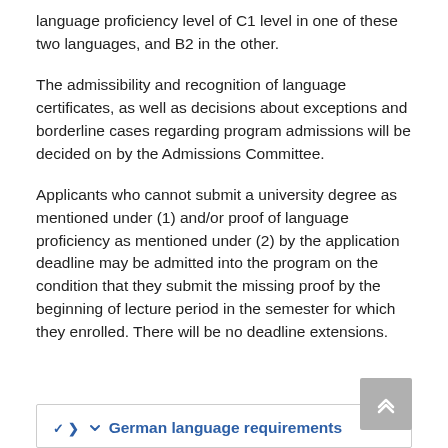language proficiency level of C1 level in one of these two languages, and B2 in the other.
The admissibility and recognition of language certificates, as well as decisions about exceptions and borderline cases regarding program admissions will be decided on by the Admissions Committee.
Applicants who cannot submit a university degree as mentioned under (1) and/or proof of language proficiency as mentioned under (2) by the application deadline may be admitted into the program on the condition that they submit the missing proof by the beginning of lecture period in the semester for which they enrolled. There will be no deadline extensions.
German language requirements